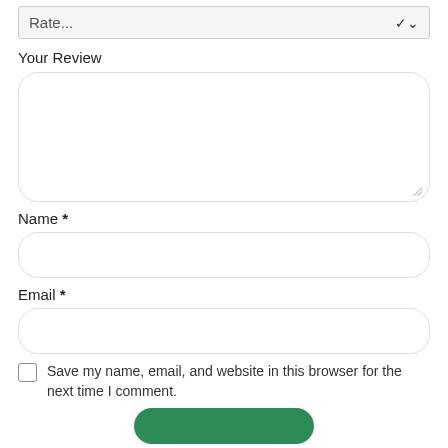Rate...
Your Review
Name *
Email *
Save my name, email, and website in this browser for the next time I comment.